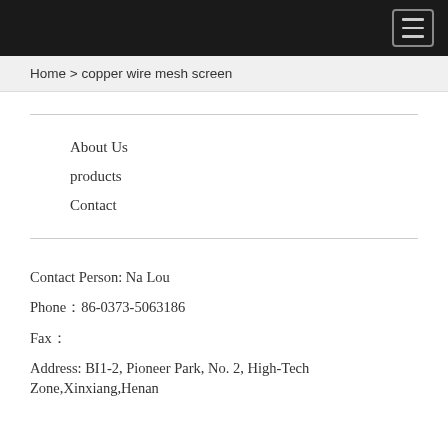Home > copper wire mesh screen
About Us
products
Contact
Contact Person: Na Lou
Phone：86-0373-5063186
Fax：
Address: BI1-2, Pioneer Park, No. 2, High-Tech Zone,Xinxiang,Henan